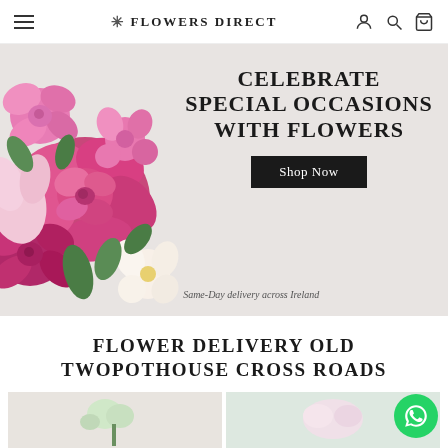FLOWERS DIRECT
[Figure (photo): Hero banner with pink roses and flower bouquet on left, text on right: CELEBRATE SPECIAL OCCASIONS WITH FLOWERS, with Shop Now button and tagline Same-Day delivery across Ireland]
FLOWER DELIVERY OLD TWOPOTHOUSE CROSS ROADS
[Figure (photo): Two partially visible product card images at the bottom of the page — left shows flowers with green stem, right shows a light-colored floral arrangement]